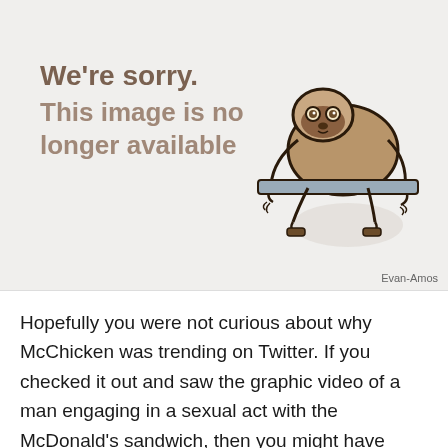[Figure (illustration): Placeholder image with a cartoon sloth illustration and text reading 'We're sorry. This image is no longer available']
Evan-Amos
Hopefully you were not curious about why McChicken was trending on Twitter. If you checked it out and saw the graphic video of a man engaging in a sexual act with the McDonald's sandwich, then you might have